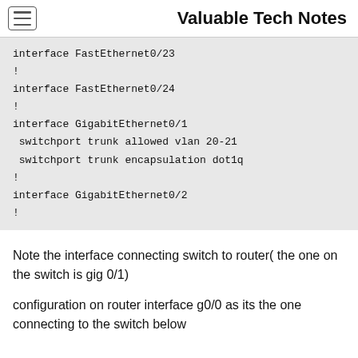Valuable Tech Notes
interface FastEthernet0/23
!
interface FastEthernet0/24
!
interface GigabitEthernet0/1
 switchport trunk allowed vlan 20-21
 switchport trunk encapsulation dot1q
!
interface GigabitEthernet0/2
!
Note the interface connecting switch to router( the one on the switch is gig 0/1)
configuration on router interface g0/0 as its the one connecting to the switch below